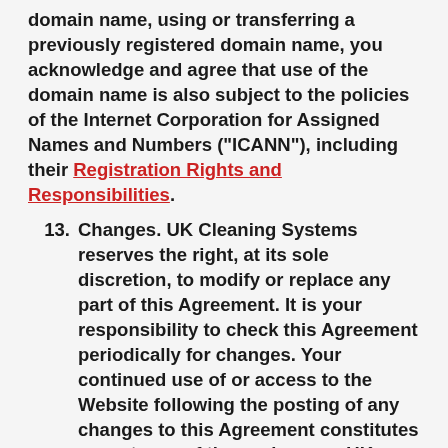domain name, using or transferring a previously registered domain name, you acknowledge and agree that use of the domain name is also subject to the policies of the Internet Corporation for Assigned Names and Numbers ("ICANN"), including their Registration Rights and Responsibilities.
13. Changes. UK Cleaning Systems reserves the right, at its sole discretion, to modify or replace any part of this Agreement. It is your responsibility to check this Agreement periodically for changes. Your continued use of or access to the Website following the posting of any changes to this Agreement constitutes acceptance of those changes. UK Cleaning Systems may also, in the future, offer new services and/or features through the Website (including